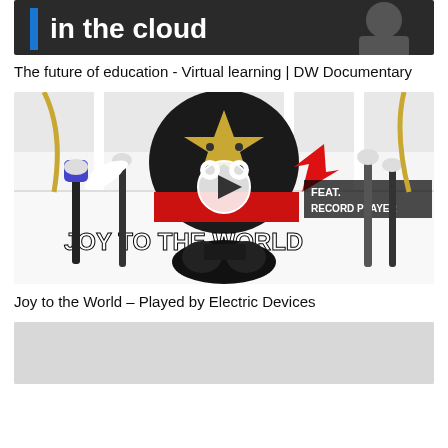[Figure (screenshot): Video thumbnail showing text 'in the cloud' with blue vertical bar and DW Documentary branding — partially visible at top]
The future of education - Virtual learning | DW Documentary
[Figure (screenshot): Video thumbnail showing a robot-like contraption with electric toothbrushes, feathers, a record player, and a game controller. Text overlay reads 'JOY TO THE WORLD' and 'FEAT. RECORD PLAYER' with a play button circle in the center]
Joy to the World – Played by Electric Devices
[Figure (screenshot): Partially visible grey video thumbnail at the bottom of the page]